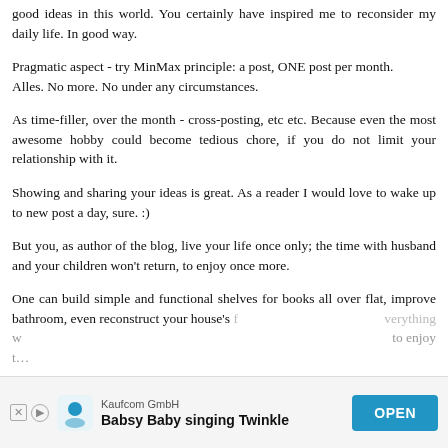good ideas in this world. You certainly have inspired me to reconsider my daily life. In good way.
Pragmatic aspect - try MinMax principle: a post, ONE post per month.
Alles. No more. No under any circumstances.
As time-filler, over the month - cross-posting, etc etc. Because even the most awesome hobby could become tedious chore, if you do not limit your relationship with it.
Showing and sharing your ideas is great. As a reader I would love to wake up to new post a day, sure. :)
But you, as author of the blog, live your life once only; the time with husband and your children won't return, to enjoy once more.
One can build simple and functional shelves for books all over flat, improve bathroom, even reconstruct your house's f… everything w… to enjoy t…
[Figure (other): Advertisement banner: Kaufcom GmbH - Babsy Baby singing Twinkle, with OPEN button]